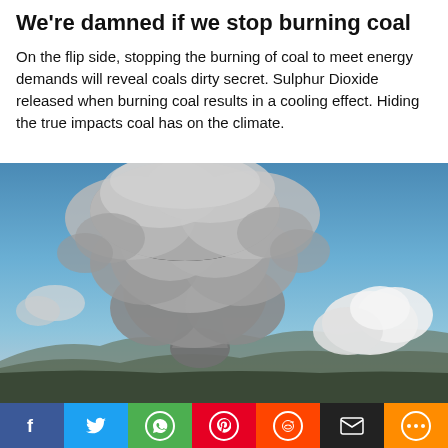We're damned if we stop burning coal
On the flip side, stopping the burning of coal to meet energy demands will reveal coals dirty secret. Sulphur Dioxide released when burning coal results in a cooling effect. Hiding the true impacts coal has on the climate.
[Figure (photo): Large volcanic eruption cloud (pyroclastic column) rising into a blue sky with white cumulus clouds, mountains visible at the horizon, flat green/dark landscape in foreground.]
Social share bar: Facebook, Twitter, WhatsApp, Pinterest, Reddit, Email, More